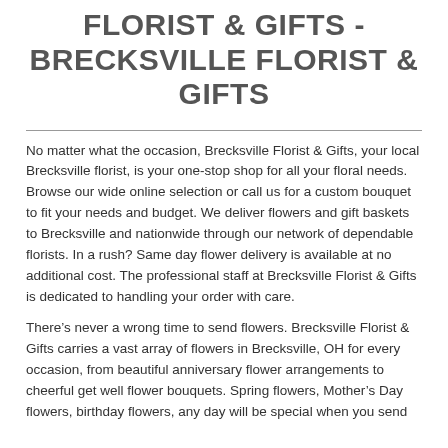FLORIST & GIFTS - BRECKSVILLE FLORIST & GIFTS
No matter what the occasion, Brecksville Florist & Gifts, your local Brecksville florist, is your one-stop shop for all your floral needs. Browse our wide online selection or call us for a custom bouquet to fit your needs and budget. We deliver flowers and gift baskets to Brecksville and nationwide through our network of dependable florists. In a rush? Same day flower delivery is available at no additional cost. The professional staff at Brecksville Florist & Gifts is dedicated to handling your order with care.
There’s never a wrong time to send flowers. Brecksville Florist & Gifts carries a vast array of flowers in Brecksville, OH for every occasion, from beautiful anniversary flower arrangements to cheerful get well flower bouquets. Spring flowers, Mother’s Day flowers, birthday flowers, any day will be special when you send